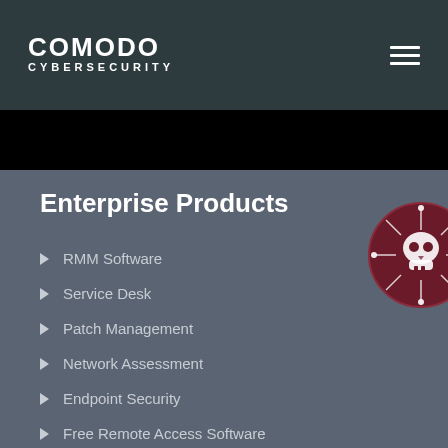COMODO CYBERSECURITY
Enterprise Products
RMM Software
Service Desk
Patch Management
Network Assessment
Endpoint Security
Free Remote Access Software
Device Manager
[Figure (logo): Circular icon with skull and crossbones circuitry design on dark red background]